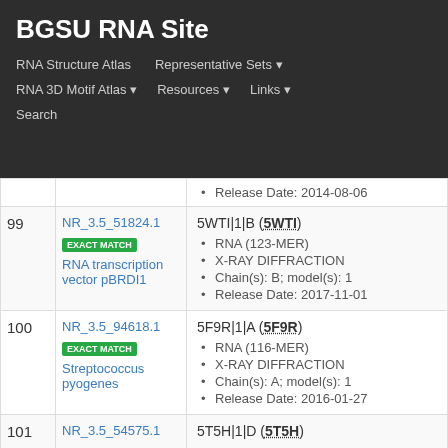BGSU RNA Site
RNA Structure Atlas | Representative Sets | RNA 3D Motif Atlas | Resources | Links | Search
| # | ID | Structure |
| --- | --- | --- |
|  |  | Release Date: 2014-08-06 |
| 99 | NR_3.5_51824.1 EXACT MATCH RNA transcription vector pBRDI1 | 5WTI|1|B (5WTI)
RNA (123-MER)
X-RAY DIFFRACTION
Chain(s): B; model(s): 1
Release Date: 2017-11-01 |
| 100 | NR_3.5_94618.1 EXACT MATCH Streptococcus pyogenes | 5F9R|1|A (5F9R)
RNA (116-MER)
X-RAY DIFFRACTION
Chain(s): A; model(s): 1
Release Date: 2016-01-27 |
| 101 | NR_3.5_54575.1 | 5T5H|1|D (5T5H) |